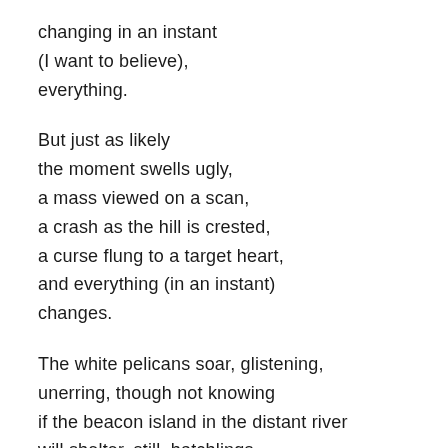changing in an instant
(I want to believe),
everything.
But just as likely
the moment swells ugly,
a mass viewed on a scan,
a crash as the hill is crested,
a curse flung to a target heart,
and everything (in an instant)
changes.
The white pelicans soar, glistening,
unerring, though not knowing
if the beacon island in the distant river
will shelter, still, hatchlings